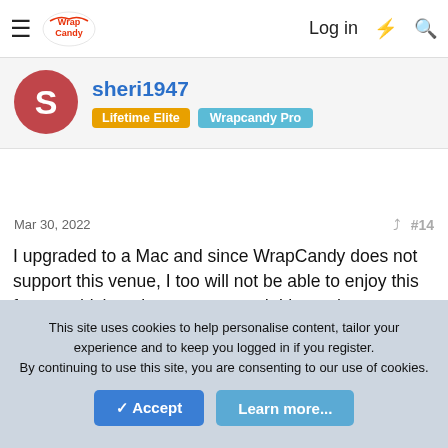Log in
sheri1947 · Lifetime Elite · Wrapcandy Pro
Mar 30, 2022 · #14
I upgraded to a Mac and since WrapCandy does not support this venue, I too will not be able to enjoy this forum, which makes me very sad. I hope that soon you will be able to addrss this in the software, More and More people are using macs, so, I hope this can be fixed. I really enjoyed my time on the old forum, and was able to create some lovely things with the help of all the wonderful artists and thosee who shard their talent with those of us who were standing behind the door when that atribute was passed out. Give me a pattern and I can do it, but I can't make the pattern!
This site uses cookies to help personalise content, tailor your experience and to keep you logged in if you register. By continuing to use this site, you are consenting to our use of cookies.